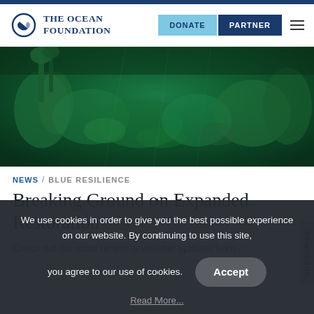The Ocean Foundation — DONATE | PARTNER
[Figure (photo): Underwater coral reef scene with green algae and coral formations, shot from below looking upward]
NEWS / BLUE RESILIENCE
Breaking Ground on Expanded Restoration
Check out our most recent newsletter updates from
We use cookies in order to give you the best possible experience on our website. By continuing to use this site, you agree to our use of cookies.
Accept
Read More...